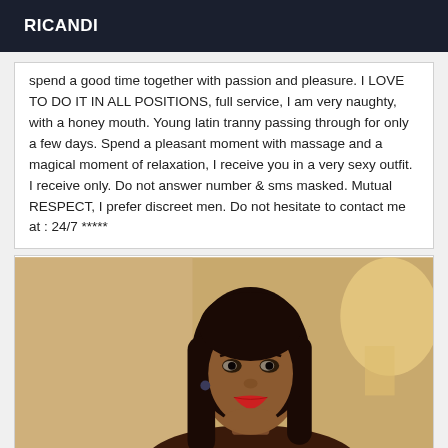RICANDI
spend a good time together with passion and pleasure. I LOVE TO DO IT IN ALL POSITIONS, full service, I am very naughty, with a honey mouth. Young latin tranny passing through for only a few days. Spend a pleasant moment with massage and a magical moment of relaxation, I receive you in a very sexy outfit. I receive only. Do not answer number & sms masked. Mutual RESPECT, I prefer discreet men. Do not hesitate to contact me at : 24/7 *****
[Figure (photo): Portrait photo of a young woman with dark hair, red lipstick, wearing earrings, in a warmly lit room]